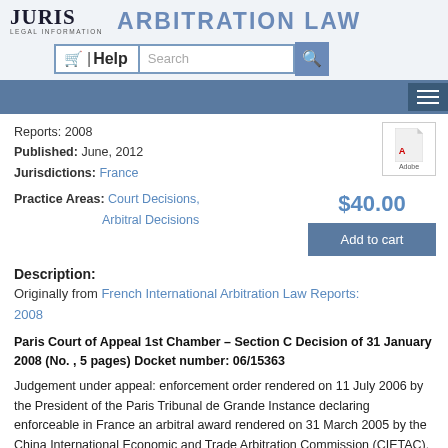JURIS LEGAL INFORMATION — ARBITRATION LAW
Reports: 2008
Published: June, 2012
Jurisdictions: France
Practice Areas: Court Decisions, Arbitral Decisions
$40.00
Add to cart
Description:
Originally from French International Arbitration Law Reports: 2008
Paris Court of Appeal 1st Chamber – Section C Decision of 31 January 2008 (No. , 5 pages) Docket number: 06/15363
Judgement under appeal: enforcement order rendered on 11 July 2006 by the President of the Paris Tribunal de Grande Instance declaring enforceable in France an arbitral award rendered on 31 March 2005 by the China International Economic and Trade Arbitration Commission (CIETAC).